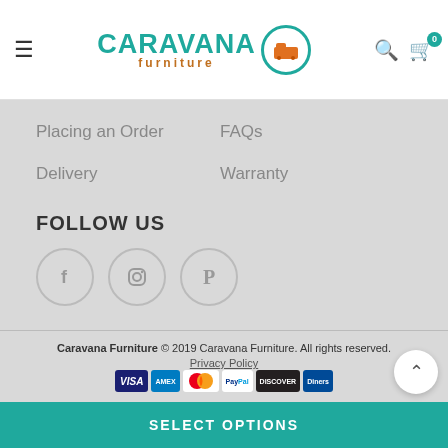Caravana Furniture — navigation header with logo, hamburger menu, search and cart icons
Placing an Order
FAQs
Delivery
Warranty
FOLLOW US
[Figure (other): Social media icons: Facebook, Instagram, Pinterest — circular outlined buttons]
Caravana Furniture © 2019 Caravana Furniture. All rights reserved. Privacy Policy
[Figure (other): Payment method logos: Visa, American Express, Mastercard, PayPal, Discover, Diners Club]
SELECT OPTIONS